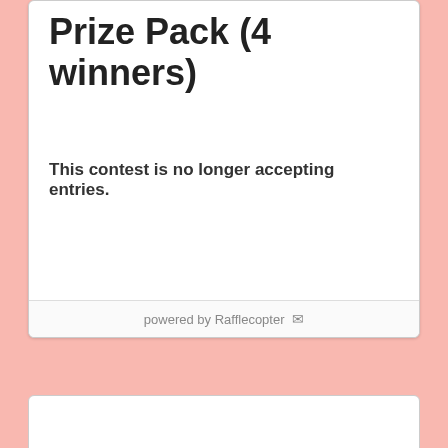Prize Pack (4 winners)
This contest is no longer accepting entries.
powered by Rafflecopter